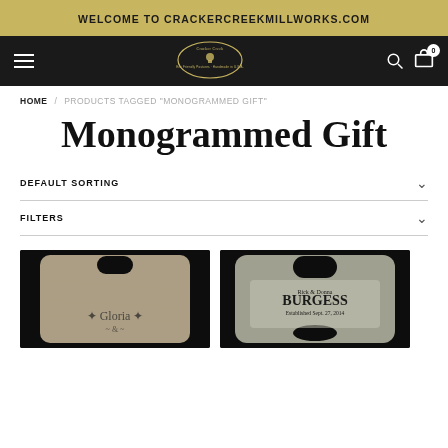WELCOME TO CRACKERCREEKMILLWORKS.COM
[Figure (logo): Cracker Creek logo with hamburger menu, search, and cart icons on dark nav bar]
HOME / PRODUCTS TAGGED "MONOGRAMMED GIFT"
Monogrammed Gift
DEFAULT SORTING
FILTERS
[Figure (photo): Close-up of a personalized cutting board with floral monogram design on light wood]
[Figure (photo): Close-up of a personalized item reading Rick & Donna BURGESS Established Sept. 27, 2014]